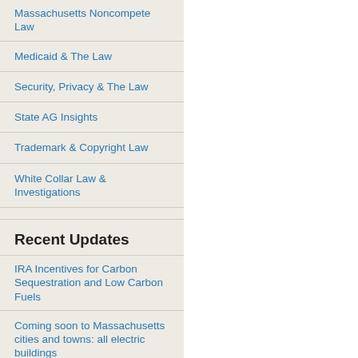Massachusetts Noncompete Law
Medicaid & The Law
Security, Privacy & The Law
State AG Insights
Trademark & Copyright Law
White Collar Law & Investigations
Recent Updates
IRA Incentives for Carbon Sequestration and Low Carbon Fuels
Coming soon to Massachusetts cities and towns: all electric buildings
The Inflation Reduction Act: Investments in Environmental Justice
NEPA Is Indeed Posing a Really Big Obstacle to Coal